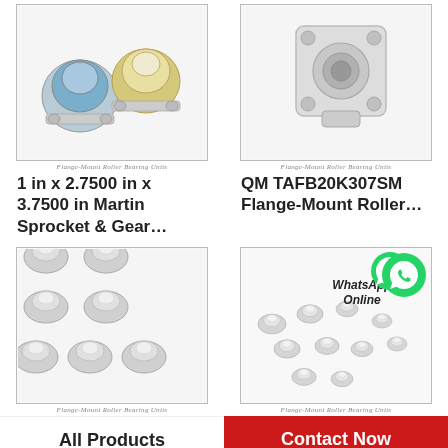[Figure (photo): Flange-Mount Roller Bearing Units product image showing two flanged bearing units with ball transfer]
Flange-Mount Roller Bearing Units
[Figure (photo): Flange-Mount Roller Bearing Units product image showing a single square flange bearing unit]
Flange-Mount Roller Bearing Units
1 in x 2.7500 in x 3.7500 in Martin Sprocket & Gear…
QM TAFB20K307SM Flange-Mount Roller…
[Figure (photo): Flange-Mount Roller Bearing Units showing 6 ball transfer units arranged in grid]
Flange-Mount Roller Bearing Units
[Figure (photo): Flange-Mount Roller Bearing Units showing multiple small ball transfer units with WhatsApp Online badge]
Flange-Mount Roller Bearing Units
All Products
Contact Now